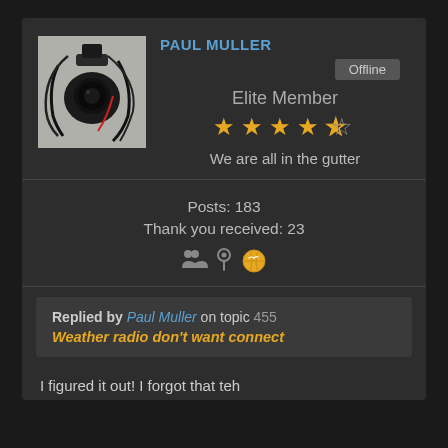[Figure (photo): Avatar photo of Paul Muller showing a camera or electronics device with cables, dark background]
PAUL MULLER
Offline
Elite Member
[Figure (other): 5-star rating: 4.5 stars out of 5 filled in orange]
We are all in the gutter
Posts: 183
Thank you received: 23
[Figure (other): Three icons: group/people icon, location pin icon, globe icon in orange]
Replied by Paul Muller on topic 455
Weather radio don't want connect
I figured it out! I forgot that teh